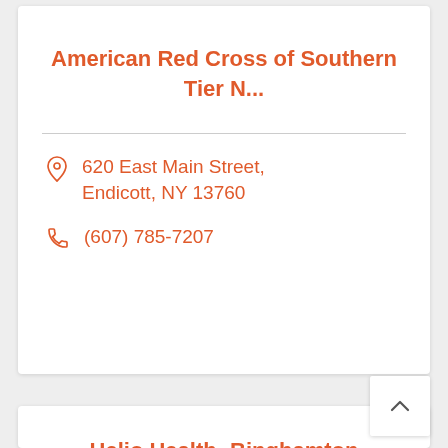American Red Cross of Southern Tier N...
620 East Main Street, Endicott, NY 13760
(607) 785-7207
Helio Health- Binghamton Evaluation